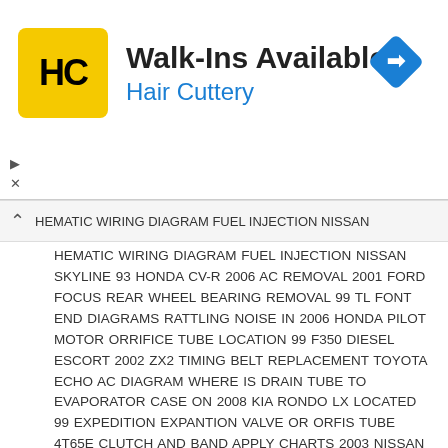[Figure (logo): Hair Cuttery advertisement banner with HC logo in yellow square, Walk-Ins Available headline, and blue navigation diamond icon]
HEMATIC WIRING DIAGRAM FUEL INJECTION NISSAN SKYLINE 93 HONDA CV-R 2006 AC REMOVAL 2001 FORD FOCUS REAR WHEEL BEARING REMOVAL 99 TL FONT END DIAGRAMS RATTLING NOISE IN 2006 HONDA PILOT MOTOR ORRIFICE TUBE LOCATION 99 F350 DIESEL ESCORT 2002 ZX2 TIMING BELT REPLACEMENT TOYOTA ECHO AC DIAGRAM WHERE IS DRAIN TUBE TO EVAPORATOR CASE ON 2008 KIA RONDO LX LOCATED 99 EXPEDITION EXPANTION VALVE OR ORFIS TUBE 4T65E CLUTCH AND BAND APPLY CHARTS 2003 NISSAN MAXIMA CAMSHAFT POSITION SENSOR INSTALLATION HONDA ELEMENT COMPRESSOR RELAY 2008 FORD F250 5.4 P0148 P0191 2005 FORD TAURUS P0606 ENGINE CODE HOW TO CHANGE A 2010 CAMRY BRAKE PADS EXPEDITION REAR AC CONDENSATE.DRAIN IMAGE LOCATION F 750 FUEL TANKS PROBLEMS 2005 FORD 500 HARSH DOWNSHIFT CCHANGING DRIVE BELTS ON 2000 CIVIC SOLENOID EVAP SUBARU NOISE 1999 FORD TAURUS BRAKE LINE DIAGRAM FORD THUNDERBIRD TOP REMOVAL DVD 2004 2ND CLUTCH PRESSURE SWITCH HONDA ODYSSEY 2000